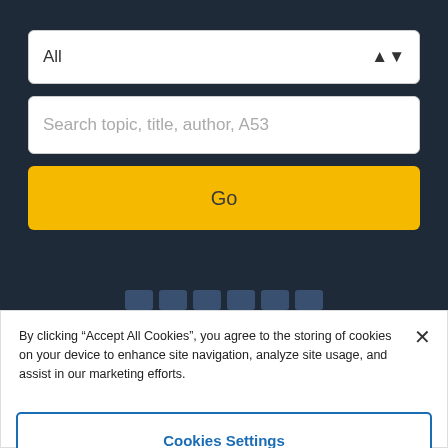[Figure (screenshot): Dark navy background with dropdown selector showing 'All', a search input with placeholder 'Search topic, title, author, A53', and a yellow 'Go' button]
By clicking “Accept All Cookies”, you agree to the storing of cookies on your device to enhance site navigation, analyze site usage, and assist in our marketing efforts.
Cookies Settings
Reject All